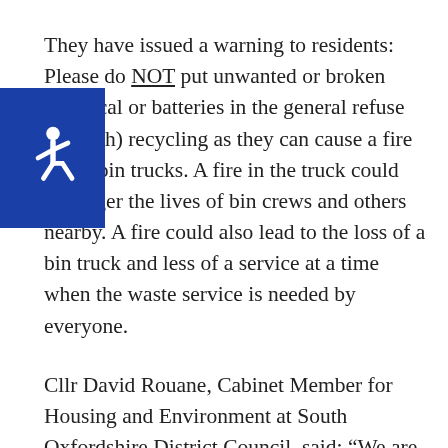They have issued a warning to residents: Please do NOT put unwanted or broken electrical or batteries in the general refuse (rubbish) recycling as they can cause a fire in the bin trucks. A fire in the truck could endanger the lives of bin crews and others nearby. A fire could also lead to the loss of a bin truck and less of a service at a time when the waste service is needed by everyone.
[Figure (illustration): Accessibility icon - white wheelchair symbol on blue background]
Cllr David Rouane, Cabinet Member for Housing and Environment at South Oxfordshire District Council, said: “We are sorry for this temporary stopping of the service and would thank people for their cooperation at this time. Please keep these items at home and as soon as we can start collecting textiles, batteries and small electrical items for recycling again we